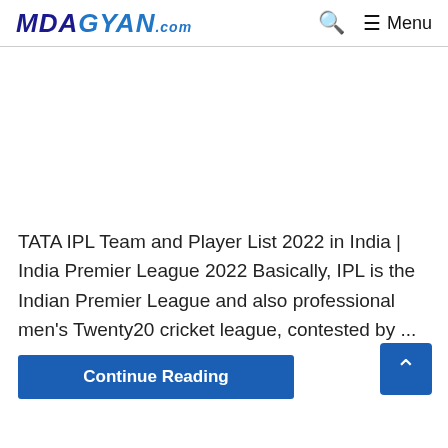MDAGYAN.com — Menu
[Figure (other): Advertisement / blank white space area]
TATA IPL Team and Player List 2022 in India | India Premier League 2022 Basically, IPL is the Indian Premier League and also professional men's Twenty20 cricket league, contested by ...
Continue Reading